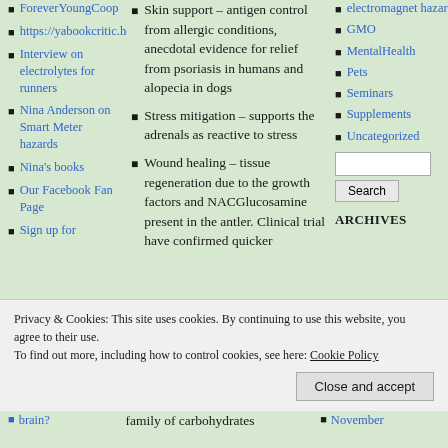ForeverYoungCoop
https://yabookcritic.home.blog/
Interview on electrolytes for runners
Nina Anderson on Smart Meter hazards
Nina's books
Our Facebook Fan Page
Sign up for
Skin support – antigen control from allergic conditions, anecdotal evidence for relief from psoriasis in humans and alopecia in dogs
Stress mitigation – supports the adrenals as reactive to stress
Wound healing – tissue regeneration due to the growth factors and NACGlucosamine present in the antler. Clinical trial have confirmed quicker
electromagnet hazards
GMO
MentalHealth
Pets
Seminars
Supplements
Uncategorized
Search
ARCHIVES
Privacy & Cookies: This site uses cookies. By continuing to use this website, you agree to their use.
To find out more, including how to control cookies, see here: Cookie Policy
Close and accept
brain?
family of carbohydrates
November